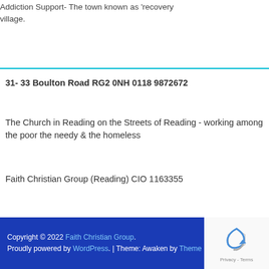Addiction Support- The town known as 'recovery village.
31- 33 Boulton Road RG2 0NH 0118 9872672
The Church in Reading on the Streets of Reading - working among the poor the needy & the homeless
Faith Christian Group (Reading) CIO 1163355
Copyright © 2022 Faith Christian Group. Proudly powered by WordPress. | Theme: Awaken by Theme